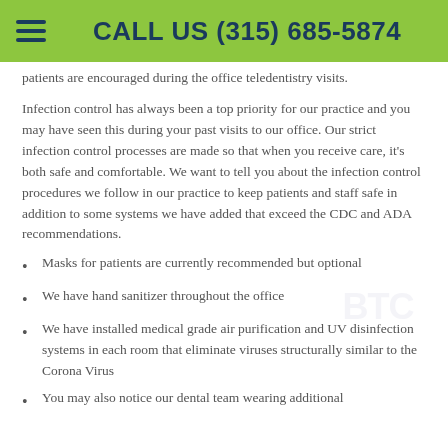CALL US (315) 685-5874
patients are encouraged during the office teledentistry visits.
Infection control has always been a top priority for our practice and you may have seen this during your past visits to our office. Our strict infection control processes are made so that when you receive care, it's both safe and comfortable. We want to tell you about the infection control procedures we follow in our practice to keep patients and staff safe in addition to some systems we have added that exceed the CDC and ADA recommendations.
Masks for patients are currently recommended but optional
We have hand sanitizer throughout the office
We have installed medical grade air purification and UV disinfection systems in each room that eliminate viruses structurally similar to the Corona Virus
You may also notice our dental team wearing additional